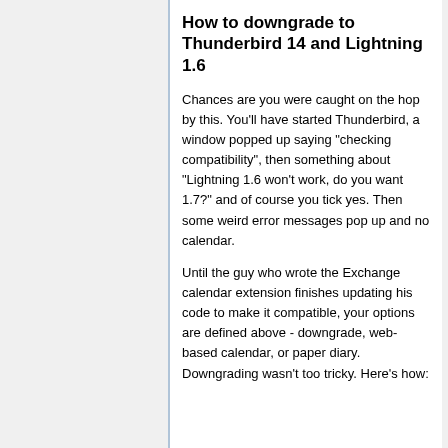How to downgrade to Thunderbird 14 and Lightning 1.6
Chances are you were caught on the hop by this. You'll have started Thunderbird, a window popped up saying "checking compatibility", then something about "Lightning 1.6 won't work, do you want 1.7?" and of course you tick yes. Then some weird error messages pop up and no calendar.
Until the guy who wrote the Exchange calendar extension finishes updating his code to make it compatible, your options are defined above - downgrade, web-based calendar, or paper diary. Downgrading wasn't too tricky. Here's how: